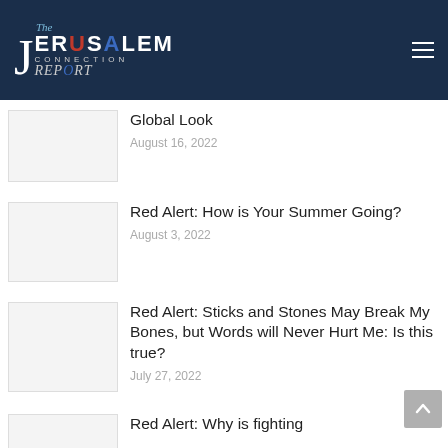The Jerusalem Connection Report
Global Look
August 16, 2022
Red Alert: How is Your Summer Going?
August 3, 2022
Red Alert: Sticks and Stones May Break My Bones, but Words will Never Hurt Me: Is this true?
July 27, 2022
Red Alert: Why is fighting